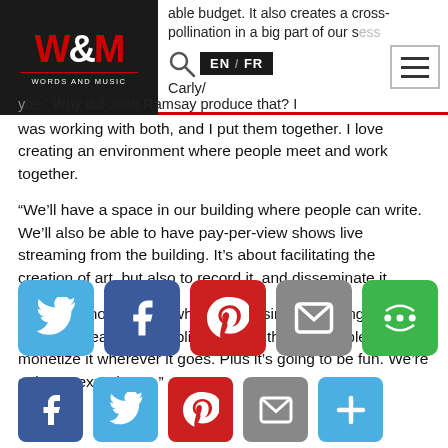W&M WORDS AND MUSIC — EN/FR navigation header
able budget. It also creates a cross-pollination in a big part of our success. Carly 'ybe.' Why did Josh Ramsay produce that? I was working with both, and I put them together. I love creating an environment where people meet and work together.
“We’ll have a space in our building where people can write. We’ll also be able to have pay-per-view shows live streaming from the building. It’s about facilitating the creation of art, but also to record it, and disseminate it.
“Nobody knows 100% where the business is going, but I’m trying to create an establishment so that I’ll be able to monetize it wherever it goes. Plus it’s going to be fun. We’re going to experiment.”
[Figure (infographic): Row of social share buttons: Twitter (blue), Facebook (dark blue), Pinterest (red), Email (grey), More (green)]
[Figure (infographic): Second row of smaller social share buttons: Facebook (dark blue), Twitter (blue), Pinterest (red), Email (grey), Plus/share (blue)]